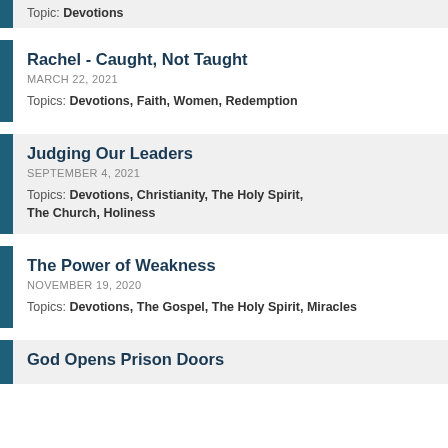Topic: Devotions (partial top card)
Rachel - Caught, Not Taught
MARCH 22, 2021
Topics: Devotions, Faith, Women, Redemption
Judging Our Leaders
SEPTEMBER 4, 2021
Topics: Devotions, Christianity, The Holy Spirit, The Church, Holiness
The Power of Weakness
NOVEMBER 19, 2020
Topics: Devotions, The Gospel, The Holy Spirit, Miracles
God Opens Prison Doors (partial bottom card)